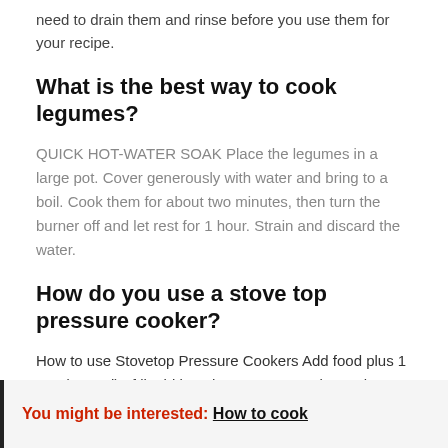need to drain them and rinse before you use them for your recipe.
What is the best way to cook legumes?
QUICK HOT-WATER SOAK Place the legumes in a large pot. Cover generously with water and bring to a boil. Cook them for about two minutes, then turn the burner off and let rest for 1 hour. Strain and discard the water.
How do you use a stove top pressure cooker?
How to use Stovetop Pressure Cookers Add food plus 1 cup (250 ml) of liquid into the pressure cooker . Close the lid and position the valve to the correct setting. Select pressure setting and turn heat to HIGH ( use MEDIUM on induction).
You might be interested: How to cook